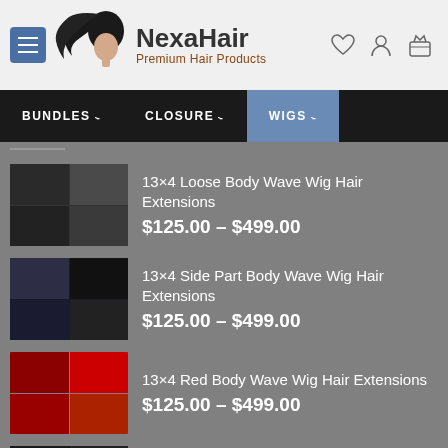[Figure (logo): NexaHair logo with woman silhouette and flowing hair]
NexaHair – Premium Hair Products
[Figure (screenshot): Navigation bar with BUNDLES, CLOSURE, WIGS (active) menu items]
13×4 Loose Body Wave Wig Hair Extensions – $125.00 – $499.00
13×4 Side Part Body Wave Wig Hair Extensions – $125.00 – $499.00
13×4 Red Body Wave Wig Hair Extensions – $125.00 – $499.00
13×4 Deep Body Wave Wig Hair Extensions – $125.00 – $499.00